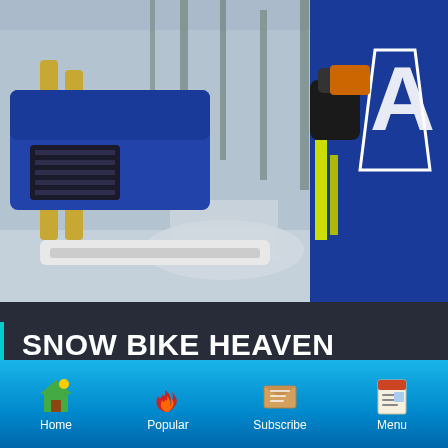[Figure (photo): Snow bike (blue motorcycle with snow kit) in a snowy forest trail, rider in blue and yellow Husqvarna gear visible on right side]
SNOW BIKE HEAVEN
Adventures in Wawa's Backcountry
By Jeff McGirr
[Figure (photo): Snowy forest trail, black and white/muted tones, trees visible]
Home  Popular  Subscribe  Menu